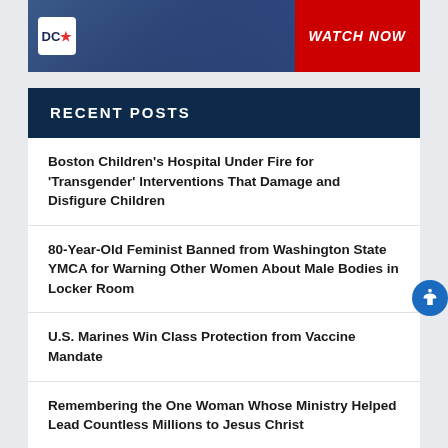[Figure (screenshot): DC Enquirer banner with logo and red WATCH NOW button, man in blue suit visible in background]
RECENT POSTS
Boston Children's Hospital Under Fire for 'Transgender' Interventions That Damage and Disfigure Children
80-Year-Old Feminist Banned from Washington State YMCA for Warning Other Women About Male Bodies in Locker Room
U.S. Marines Win Class Protection from Vaccine Mandate
Remembering the One Woman Whose Ministry Helped Lead Countless Millions to Jesus Christ
Planned Parenthood Set to Spend $50 Million to